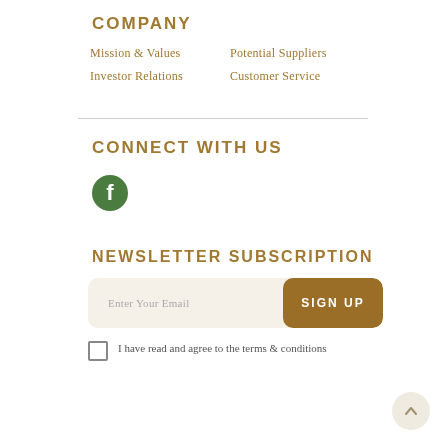COMPANY
Mission & Values
Potential Suppliers
Investor Relations
Customer Service
CONNECT WITH US
[Figure (logo): Facebook icon - green circle with white 'f' letter]
NEWSLETTER SUBSCRIPTION
Enter Your Email  SIGN UP
I have read and agree to the terms & conditions